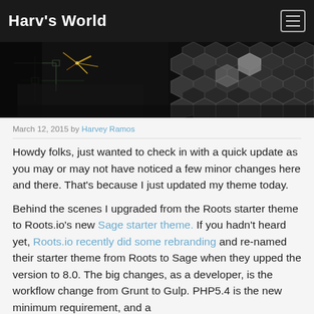Harv's World
[Figure (photo): Dark banner image showing hexagonal mesh/grid pattern with circuit board elements and sparks on black background]
March 12, 2015 by Harvey Ramos
Howdy folks, just wanted to check in with a quick update as you may or may not have noticed a few minor changes here and there. That's because I just updated my theme today.
Behind the scenes I upgraded from the Roots starter theme to Roots.io's new Sage starter theme. If you hadn't heard yet, Roots.io recently did some rebranding and re-named their starter theme from Roots to Sage when they upped the version to 8.0. The big changes, as a developer, is the workflow change from Grunt to Gulp. PHP5.4 is the new minimum requirement, and a